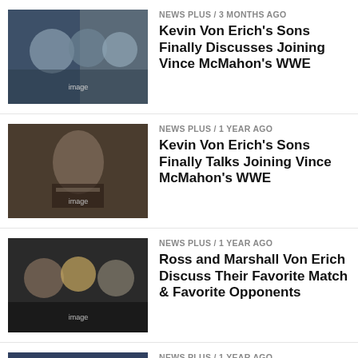NEWS PLUS / 3 months ago
Kevin Von Erich's Sons Finally Discusses Joining Vince McMahon's WWE
NEWS PLUS / 1 year ago
Kevin Von Erich's Sons Finally Talks Joining Vince McMahon's WWE
NEWS PLUS / 1 year ago
Ross and Marshall Von Erich Discuss Their Favorite Match & Favorite Opponents
NEWS PLUS / 1 year ago
Watch Video Of Kevin Von Erich giving his sons, Ross and Marshall advice
NEWS PLUS / 1 year ago
Video Of Kevin Von Erich giving his sons,